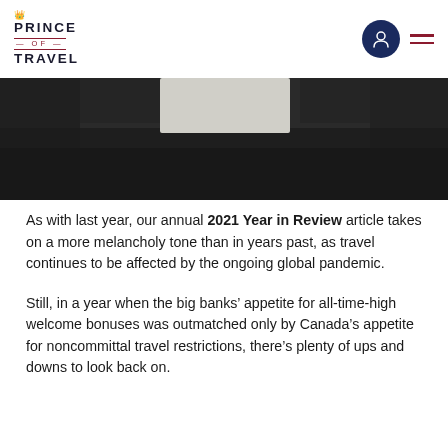PRINCE OF TRAVEL
[Figure (photo): Partial view of a dark interior space, likely an airplane cabin or hotel room, with dark carpet and light-colored architectural elements visible.]
As with last year, our annual 2021 Year in Review article takes on a more melancholy tone than in years past, as travel continues to be affected by the ongoing global pandemic.
Still, in a year when the big banks’ appetite for all-time-high welcome bonuses was outmatched only by Canada’s appetite for noncommittal travel restrictions, there’s plenty of ups and downs to look back on.